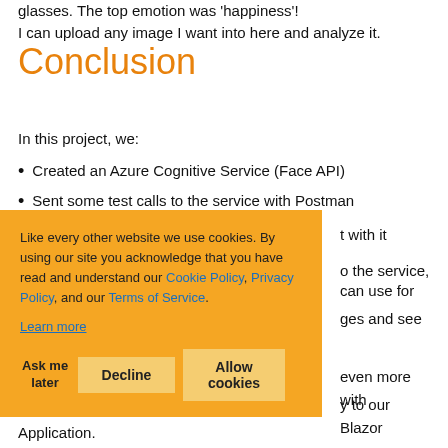glasses. The top emotion was 'happiness'!
I can upload any image I want into here and analyze it.
Conclusion
In this project, we:
Created an Azure Cognitive Service (Face API)
Sent some test calls to the service with Postman
[Built a Blazor application and connected] it with it
[We can now send images] to the service, [get the result back that we] can use for [something, upload our own images] and see [the result]
[We can do] even more with [this, you can add functionality] to our Blazor Application.
Like every other website we use cookies. By using our site you acknowledge that you have read and understand our Cookie Policy, Privacy Policy, and our Terms of Service. Learn more
Ask me later   Decline   Allow cookies